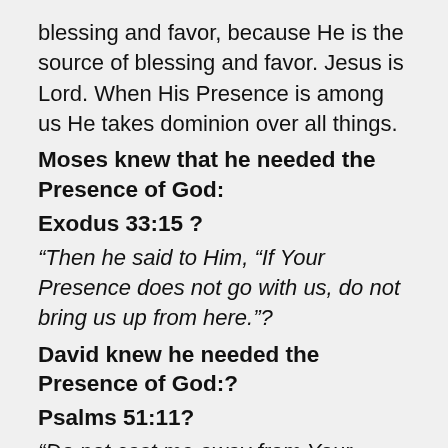blessing and favor, because He is the source of blessing and favor. Jesus is Lord. When His Presence is among us He takes dominion over all things.
Moses knew that he needed the Presence of God:
Exodus 33:15 ?
“Then he said to Him, “If Your Presence does not go with us, do not bring us up from here.”?
David knew he needed the Presence of God:?
Psalms 51:11?
“Do not cast me away from Your presence, And do not take Your Holy